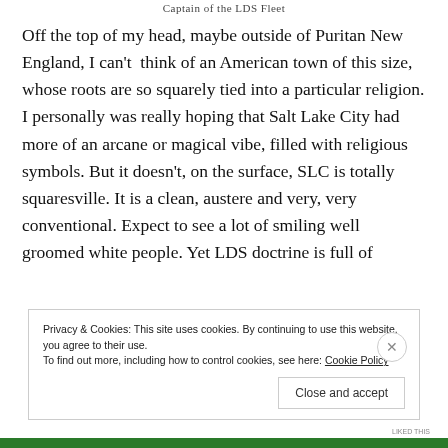Captain of the LDS Fleet
Off the top of my head, maybe outside of Puritan New England, I can't think of an American town of this size, whose roots are so squarely tied into a particular religion. I personally was really hoping that Salt Lake City had more of an arcane or magical vibe, filled with religious symbols. But it doesn't, on the surface, SLC is totally squaresville. It is a clean, austere and very, very conventional. Expect to see a lot of smiling well groomed white people. Yet LDS doctrine is full of
Privacy & Cookies: This site uses cookies. By continuing to use this website, you agree to their use.
To find out more, including how to control cookies, see here: Cookie Policy
Close and accept